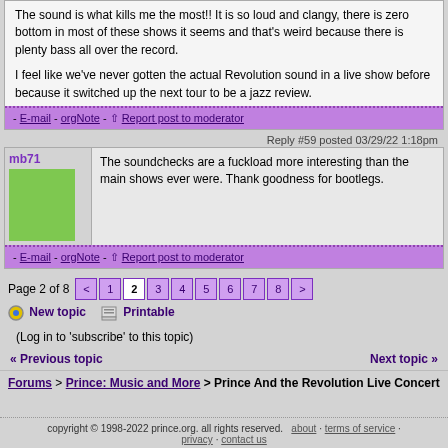The sound is what kills me the most!! It is so loud and clangy, there is zero bottom in most of these shows it seems and that's weird because there is plenty bass all over the record.

I feel like we've never gotten the actual Revolution sound in a live show before because it switched up the next tour to be a jazz review.
- E-mail - orgNote - Report post to moderator
Reply #59 posted 03/29/22 1:18pm
mb71
The soundchecks are a fuckload more interesting than the main shows ever were. Thank goodness for bootlegs.
- E-mail - orgNote - Report post to moderator
Page 2 of 8  < 1 2 3 4 5 6 7 8 >
New topic   Printable
(Log in to 'subscribe' to this topic)
« Previous topic   Next topic »
Forums > Prince: Music and More > Prince And the Revolution Live Concert
copyright © 1998-2022 prince.org. all rights reserved.  about · terms of service · privacy · contact us